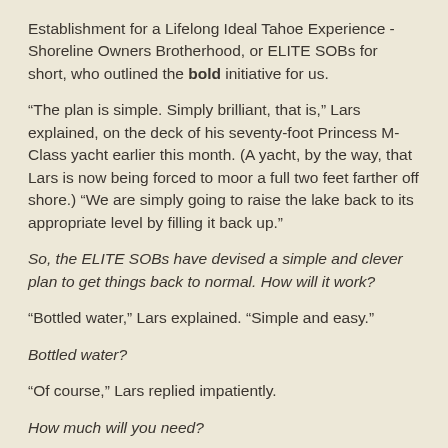Establishment for a Lifelong Ideal Tahoe Experience - Shoreline Owners Brotherhood, or ELITE SOBs for short, who outlined the bold initiative for us.
“The plan is simple. Simply brilliant, that is,” Lars explained, on the deck of his seventy-foot Princess M-Class yacht earlier this month. (A yacht, by the way, that Lars is now being forced to moor a full two feet farther off shore.) “We are simply going to raise the lake back to its appropriate level by filling it back up.”
So, the ELITE SOBs have devised a simple and clever plan to get things back to normal. How will it work?
“Bottled water,” Lars explained. “Simple and easy.”
Bottled water?
“Of course,” Lars replied impatiently.
How much will you need?